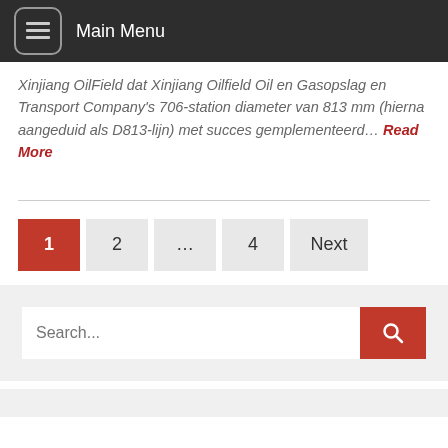Main Menu
Xinjiang OilField dat Xinjiang Oilfield Oil en Gasopslag en Transport Company’s 706-station diameter van 813 mm (hierna aangeduid als D813-lijn) met succes geïlplementeerd... Read More
[Figure (other): Pagination navigation with buttons: 1 (active/red), 2, ..., 4, Next]
[Figure (other): Search box with text input placeholder 'Search...' and red search button with magnifying glass icon]